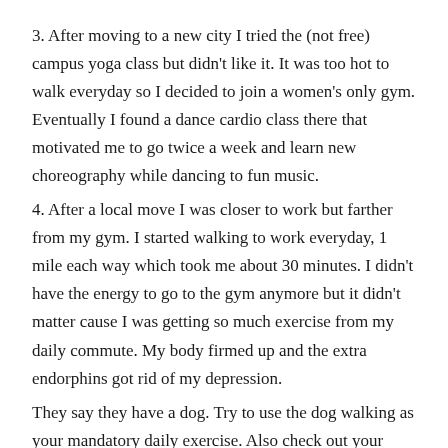3. After moving to a new city I tried the (not free) campus yoga class but didn't like it. It was too hot to walk everyday so I decided to join a women's only gym. Eventually I found a dance cardio class there that motivated me to go twice a week and learn new choreography while dancing to fun music.
4. After a local move I was closer to work but farther from my gym. I started walking to work everyday, 1 mile each way which took me about 30 minutes. I didn't have the energy to go to the gym anymore but it didn't matter cause I was getting so much exercise from my daily commute. My body firmed up and the extra endorphins got rid of my depression.
They say they have a dog. Try to use the dog walking as your mandatory daily exercise. Also check out your local recreation center for free exercise classes. Many offer Zumba or line dancing which are more fun than just using a treadmill.